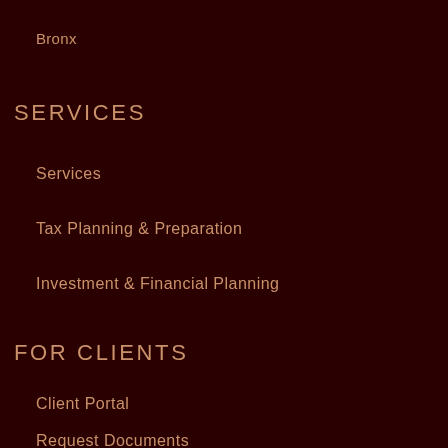Bronx
SERVICES
Services
Tax Planning & Preparation
Investment & Financial Planning
FOR CLIENTS
Client Portal
Request Documents